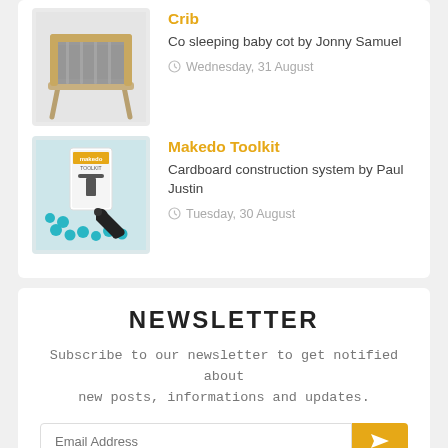Crib
Co sleeping baby cot by Jonny Samuel
Wednesday, 31 August
Makedo Toolkit
Cardboard construction system by Paul Justin
Tuesday, 30 August
NEWSLETTER
Subscribe to our newsletter to get notified about new posts, informations and updates.